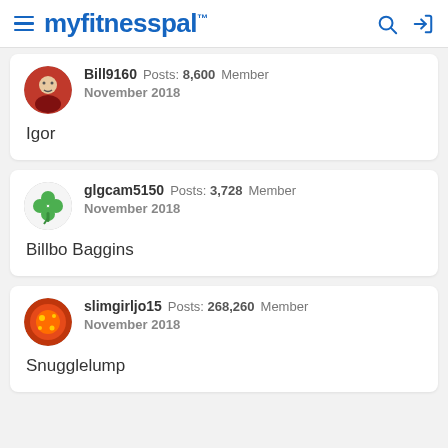myfitnesspal
Bill9160  Posts: 8,600  Member
November 2018

Igor
glgcam5150  Posts: 3,728  Member
November 2018

Billbo Baggins
slimgirljo15  Posts: 268,260  Member
November 2018

Snugglelump